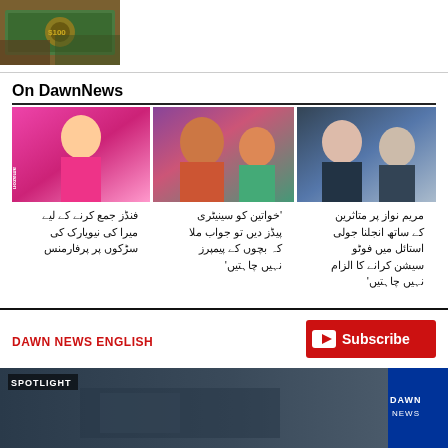[Figure (photo): Hand holding US dollar bills]
On DawnNews
[Figure (photo): Three news images: woman in pink dress (amazon backdrop), women in colorful headscarves, two women in dark headscarves]
فنڈز جمع کرنے کے لیے میرا کی نیویارک کی سڑکوں پر پرفارمنس
'خواتین کو سینیٹری پیڈز دیں تو جواب ملا کہ بچوں کے پیمپرز'
مریم نواز پر متاثرین کے ساتھ انجلنا جولی استائل میں فوٹو سیشن کرانے کا الزام نہیں چاہتیں'
DAWN NEWS ENGLISH
[Figure (screenshot): Subscribe button with YouTube icon in red]
[Figure (screenshot): Spotlight video thumbnail with Dawn News logo]